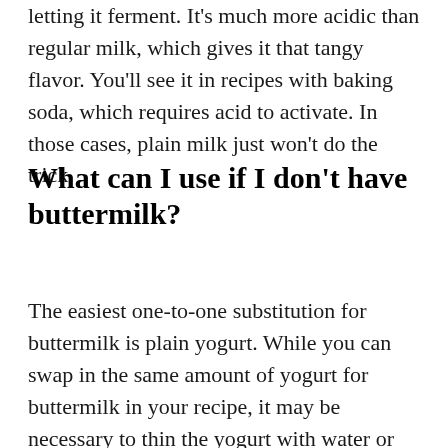letting it ferment. It's much more acidic than regular milk, which gives it that tangy flavor. You'll see it in recipes with baking soda, which requires acid to activate. In those cases, plain milk just won't do the trick.
What can I use if I don't have buttermilk?
The easiest one-to-one substitution for buttermilk is plain yogurt. While you can swap in the same amount of yogurt for buttermilk in your recipe, it may be necessary to thin the yogurt with water or milk first (especially if the batter you're making is relatively thin). Sour cream works in the same way. If you don't have either of those ingredients